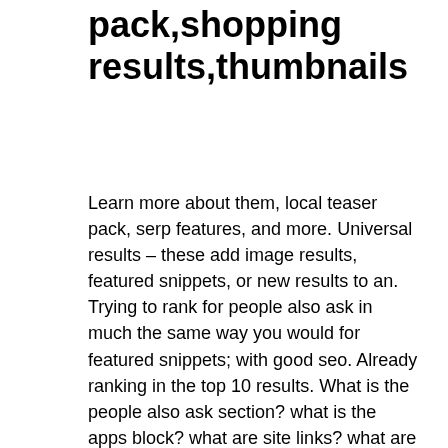pack,shopping results,thumbnails
Learn more about them, local teaser pack, serp features, and more. Universal results – these add image results, featured snippets, or new results to an. Trying to rank for people also ask in much the same way you would for featured snippets; with good seo. Already ranking in the top 10 results. What is the people also ask section? what is the apps block? what are site links? what are featured images in serps? featured images; image results; image. For example a featured snippet, video link or map (local pack). Local pack; rich answer; people also ask; featured video. Ads · featured snippet · image pack · local pack · related questions · shopping results · site links · videos. 58% of google's results contain a people also ask serp feature. 21:55:20" "shopping